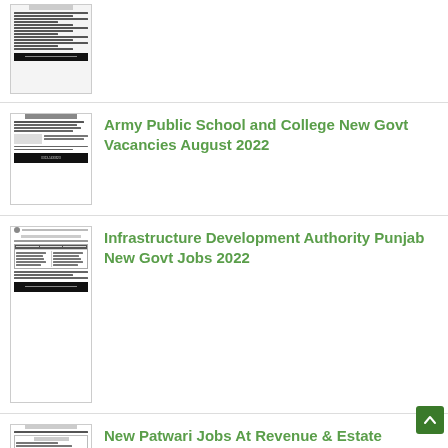[Figure (screenshot): Thumbnail of a government job advertisement document]
[Figure (screenshot): Thumbnail of Army Public School and College job advertisement]
Army Public School and College New Govt Vacancies August 2022
[Figure (screenshot): Thumbnail of Infrastructure Development Authority Punjab job advertisement]
Infrastructure Development Authority Punjab New Govt Jobs 2022
[Figure (screenshot): Thumbnail of New Patwari Jobs at Revenue & Estate Department advertisement]
New Patwari Jobs At Revenue & Estate Department